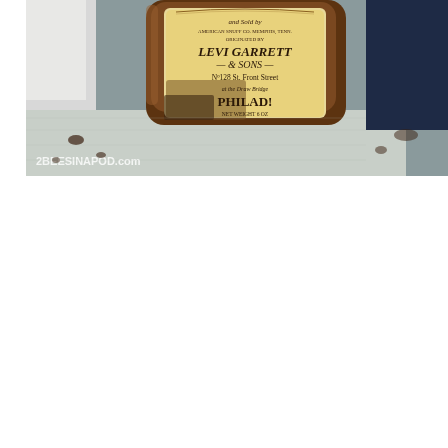[Figure (photo): Close-up photograph of an antique amber glass jar/bottle with a vintage yellowed paper label. The label reads: 'and Sold by AMERICAN SNUFF CO. MEMPHIS, TENN. ORIGINATED BY LEVI GARRETT & SONS No. 128 St. Front Street at the Draw Bridge PHILAD! NET WEIGHT 6 OZ'. A watermark in the lower left corner reads '2BEESINAPOD.com'. The jar sits on a weathered white-painted wooden surface with dark stains. The background shows a dark navy blue wall on the right side.]